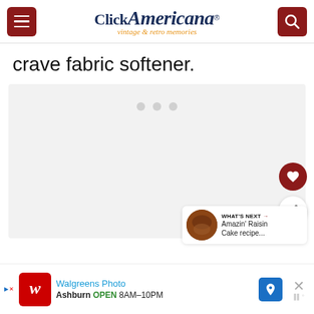Click Americana - vintage & retro memories
crave fabric softener.
[Figure (screenshot): Gray placeholder content area with three loading dots]
WHAT'S NEXT → Amazin' Raisin Cake recipe...
Walgreens Photo Ashburn OPEN 8AM–10PM